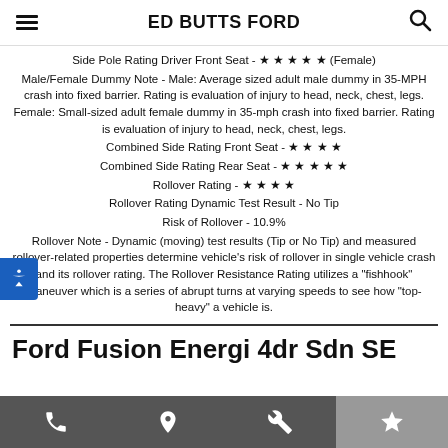ED BUTTS FORD
Side Pole Rating Driver Front Seat - ★ ★ ★ ★ ★ (Female)
Male/Female Dummy Note - Male: Average sized adult male dummy in 35-MPH crash into fixed barrier. Rating is evaluation of injury to head, neck, chest, legs. Female: Small-sized adult female dummy in 35-mph crash into fixed barrier. Rating is evaluation of injury to head, neck, chest, legs.
Combined Side Rating Front Seat - ★ ★ ★ ★
Combined Side Rating Rear Seat - ★ ★ ★ ★ ★
Rollover Rating - ★ ★ ★ ★
Rollover Rating Dynamic Test Result - No Tip
Risk of Rollover - 10.9%
Rollover Note - Dynamic (moving) test results (Tip or No Tip) and measured rollover-related properties determine vehicle's risk of rollover in single vehicle crash and its rollover rating. The Rollover Resistance Rating utilizes a "fishhook" maneuver which is a series of abrupt turns at varying speeds to see how "top-heavy" a vehicle is.
Ford Fusion Energi 4dr Sdn SE